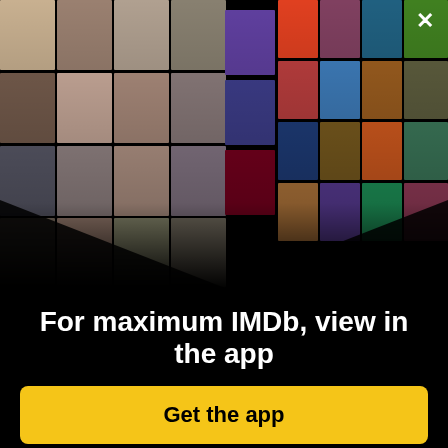[Figure (screenshot): IMDb app promotional screen showing a mosaic of celebrity photos and movie posters arranged on a dark background with a close/X button in the top right corner]
For maximum IMDb, view in the app
Get the app
2 VIDEOS
17 PHOTOS
Drama  History  Sport